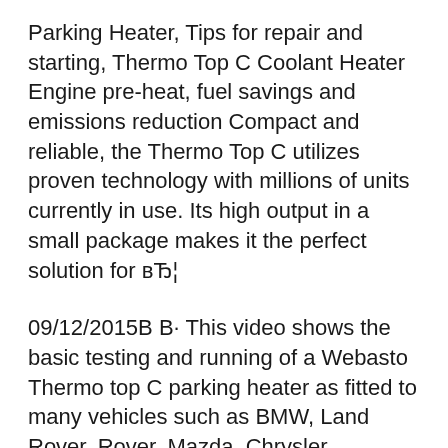Parking Heater, Tips for repair and starting, Thermo Top C Coolant Heater Engine pre-heat, fuel savings and emissions reduction Compact and reliable, the Thermo Top C utilizes proven technology with millions of units currently in use. Its high output in a small package makes it the perfect solution for вЂ¦
09/12/2015В В· This video shows the basic testing and running of a Webasto Thermo top C parking heater as fitted to many vehicles such as BMW, Land Rover, Rover, Mazda, Chrysler, Renault, Fiat, вЂ¦ Webasto Thermo Top C Pdf User Manuals. View online or download Webasto Thermo Top C Manual